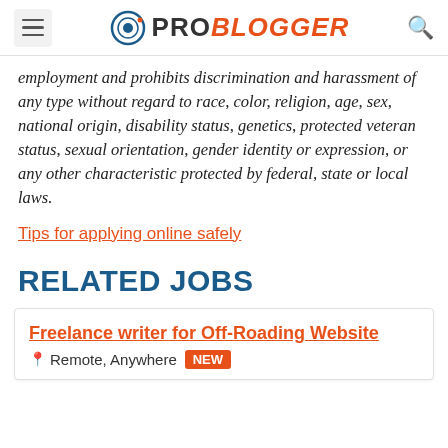ProBlogger
employment and prohibits discrimination and harassment of any type without regard to race, color, religion, age, sex, national origin, disability status, genetics, protected veteran status, sexual orientation, gender identity or expression, or any other characteristic protected by federal, state or local laws.
Tips for applying online safely
RELATED JOBS
Freelance writer for Off-Roading Website  Remote, Anywhere  NEW